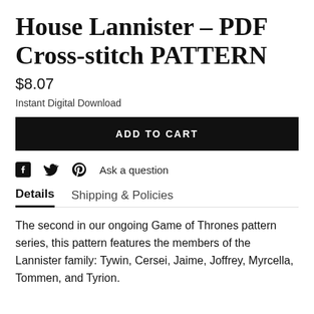House Lannister - PDF Cross-stitch PATTERN
$8.07
Instant Digital Download
ADD TO CART
Ask a question
Details   Shipping & Policies
The second in our ongoing Game of Thrones pattern series, this pattern features the members of the Lannister family: Tywin, Cersei, Jaime, Joffrey, Myrcella, Tommen, and Tyrion.